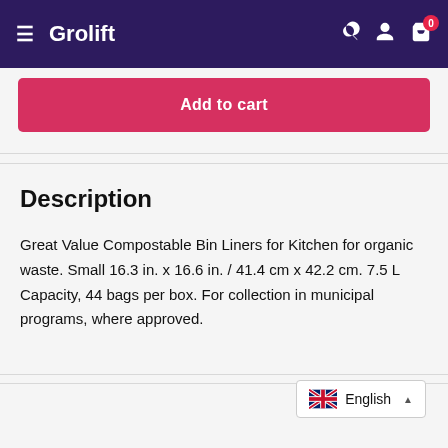Grolift
Add to cart
Description
Great Value Compostable Bin Liners for Kitchen for organic waste. Small 16.3 in. x 16.6 in. / 41.4 cm x 42.2 cm. 7.5 L Capacity, 44 bags per box. For collection in municipal programs, where approved.
English